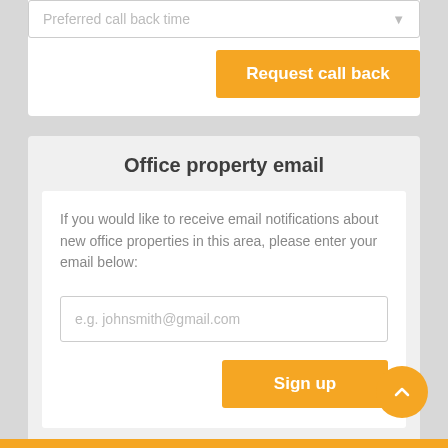Preferred call back time
Request call back
Office property email
If you would like to receive email notifications about new office properties in this area, please enter your email below:
e.g. johnsmith@gmail.com
Sign up